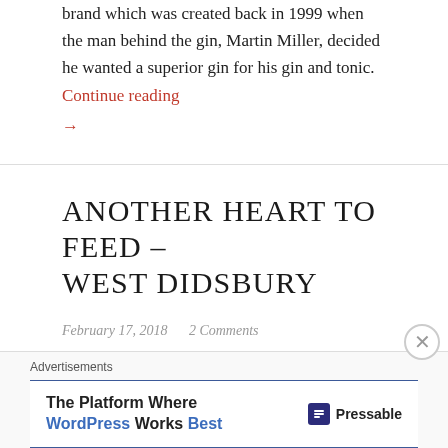brand which was created back in 1999 when the man behind the gin, Martin Miller, decided he wanted a superior gin for his gin and tonic. Continue reading →
ANOTHER HEART TO FEED – WEST DIDSBURY
February 17, 2018   2 Comments
[Figure (photo): Dark, dimly lit food/drink photo showing a table with plates and drinks, taken in a restaurant or bar setting]
Advertisements
The Platform Where WordPress Works Best — Pressable